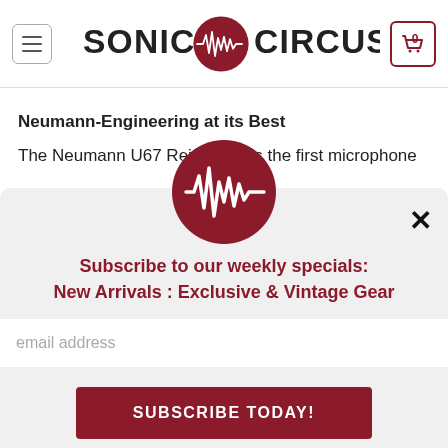SONIC CIRCUS | 0
Neumann-Engineering at its Best
The Neumann U67 Reissue was the first microphone
[Figure (logo): Sonic Circus logo — dark red circle with white audio waveform graphic inside]
Subscribe to our weekly specials:
New Arrivals : Exclusive & Vintage Gear
email address
SUBSCRIBE TODAY!